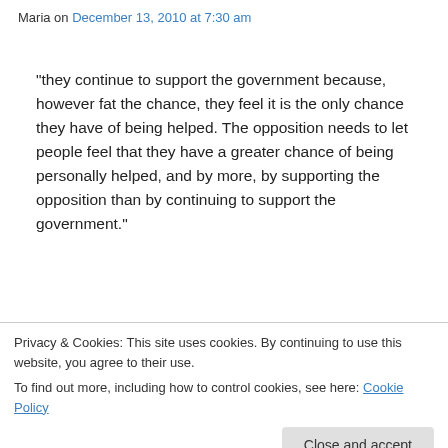Maria on December 13, 2010 at 7:30 am
“they continue to support the government because, however fat the chance, they feel it is the only chance they have of being helped. The opposition needs to let people feel that they have a greater chance of being personally helped, and by more, by supporting the opposition than by continuing to support the government.”
How? By being more populist than Chavez? By
Privacy & Cookies: This site uses cookies. By continuing to use this website, you agree to their use.
To find out more, including how to control cookies, see here: Cookie Policy
Close and accept
Reply on December 13, 2010 at 9:09 am